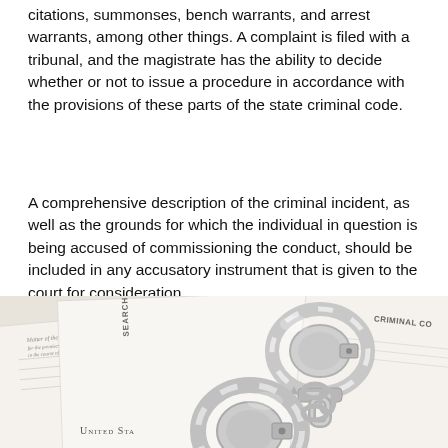citations, summonses, bench warrants, and arrest warrants, among other things. A complaint is filed with a tribunal, and the magistrate has the ability to decide whether or not to issue a procedure in accordance with the provisions of these parts of the state criminal code.
A comprehensive description of the criminal incident, as well as the grounds for which the individual in question is being accused of commissioning the conduct, should be included in any accusatory instrument that is given to the court for consideration.
[Figure (photo): Photograph of silver handcuffs resting on legal documents including a Search and Seizure Warrant and Criminal Co[de] paperwork, with 'United Sta[tes]' visible on one document.]